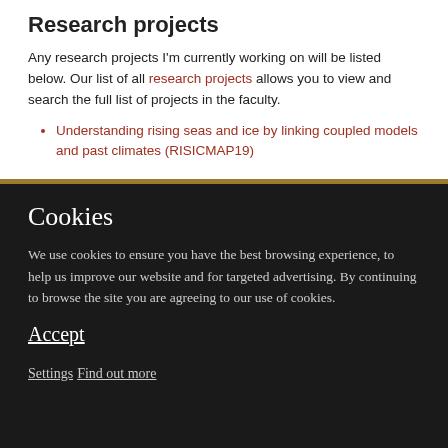Research projects
Any research projects I'm currently working on will be listed below. Our list of all research projects allows you to view and search the full list of projects in the faculty.
Understanding rising seas and ice by linking coupled models and past climates (RISICMAP19)
Cookies
We use cookies to ensure you have the best browsing experience, to help us improve our website and for targeted advertising. By continuing to browse the site you are agreeing to our use of cookies.
Accept
Settings
Find out more